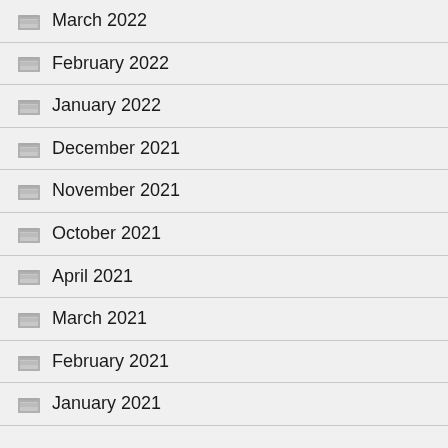March 2022
February 2022
January 2022
December 2021
November 2021
October 2021
April 2021
March 2021
February 2021
January 2021